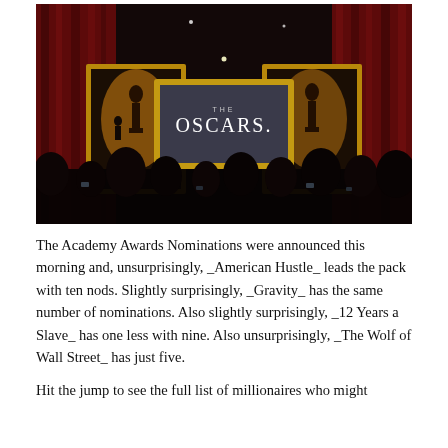[Figure (photo): A dark auditorium scene showing an Oscars nomination announcement event. Center stage has a large illuminated sign reading 'THE OSCARS.' flanked by two golden-framed posters showing silhouettes of the Oscar statuette. Red curtains drape the background. Audience members are visible in silhouette in the foreground.]
The Academy Awards Nominations were announced this morning and, unsurprisingly, _American Hustle_ leads the pack with ten nods. Slightly surprisingly, _Gravity_ has the same number of nominations. Also slightly surprisingly, _12 Years a Slave_ has one less with nine. Also unsurprisingly, _The Wolf of Wall Street_ has just five.
Hit the jump to see the full list of millionaires who might...